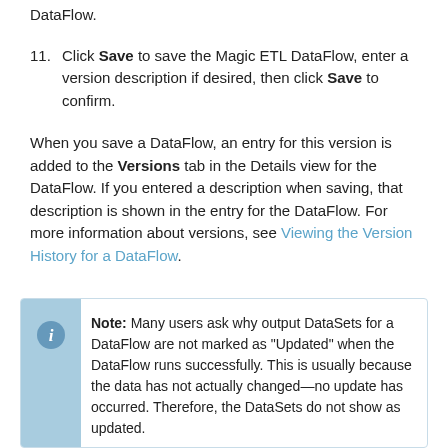DataFlow.
11. Click Save to save the Magic ETL DataFlow, enter a version description if desired, then click Save to confirm.
When you save a DataFlow, an entry for this version is added to the Versions tab in the Details view for the DataFlow. If you entered a description when saving, that description is shown in the entry for the DataFlow. For more information about versions, see Viewing the Version History for a DataFlow.
Note: Many users ask why output DataSets for a DataFlow are not marked as "Updated" when the DataFlow runs successfully. This is usually because the data has not actually changed—no update has occurred. Therefore, the DataSets do not show as updated.